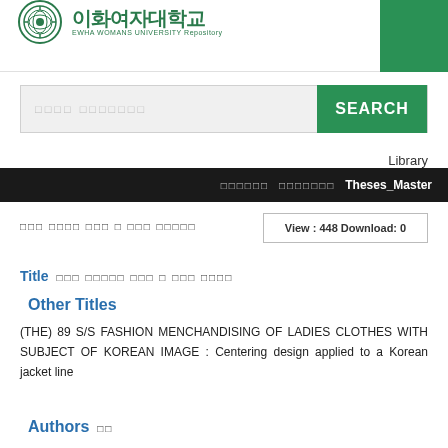이화여자대학교 EWHA WOMANS UNIVERSITY Repository
[Figure (logo): Ewha Womans University circular emblem logo in green]
SEARCH
Library
□□□□□□  □□□□□□□  Theses_Master
□□□ □□□□ □□□ □ □□□ □□□□□
View : 448 Download: 0
Title  □□□ □□□□□ □□□ □ □□□ □□□□
Other Titles
(THE) 89 S/S FASHION MENCHANDISING OF LADIES CLOTHES WITH SUBJECT OF KOREAN IMAGE : Centering design applied to a Korean jacket line
Authors